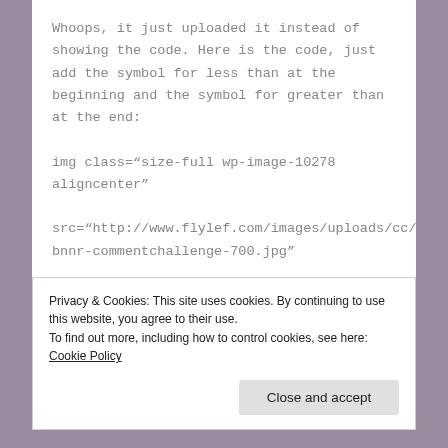Whoops, it just uploaded it instead of showing the code. Here is the code, just add the symbol for less than at the beginning and the symbol for greater than at the end:
img class="size-full wp-image-10278 aligncenter"
src="http://www.flylef.com/images/uploads/cc/bnnr-commentchallenge-700.jpg"
alt="commentchallenge-700×350" width="640"
height="320" /
Privacy & Cookies: This site uses cookies. By continuing to use this website, you agree to their use.
To find out more, including how to control cookies, see here: Cookie Policy